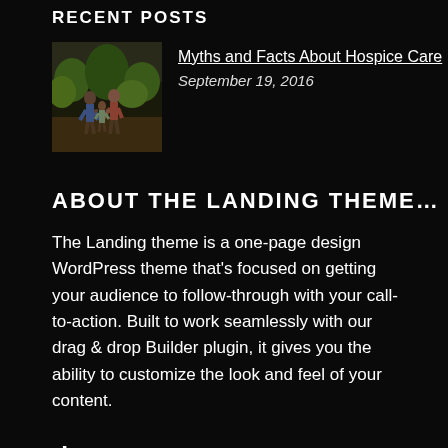RECENT POSTS
Myths and Facts About Hospice Care
September 19, 2016
ABOUT THE LANDING THEME…
The Landing theme is a one-page design WordPress theme that's focused on getting your audience to follow-through with your call-to-action. Built to work seamlessly with our drag & drop Builder plugin, it gives you the ability to customize the look and feel of your content.
[Figure (other): Social media icons: Twitter (bird), Facebook (f), Google+ (G+)]